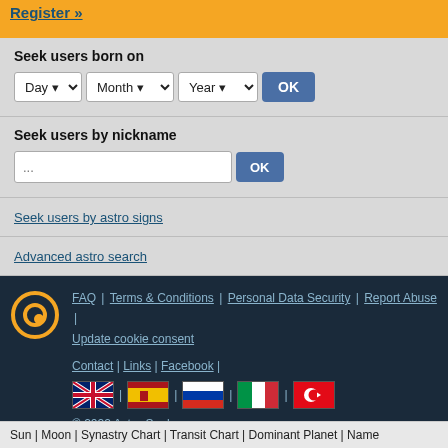Register »
Seek users born on
Day | Month | Year | OK
Seek users by nickname
... OK
Seek users by astro signs
Advanced astro search
FAQ | Terms & Conditions | Personal Data Security | Report Abuse | Update cookie consent | Contact | Links | Facebook | © 2022 Astro-Seek.com
Sun | Moon | Synastry Chart | Transit Chart | Dominant Planet | Name